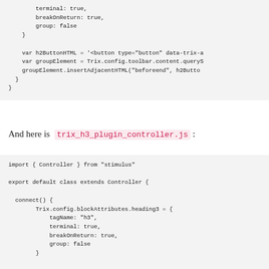terminal: true,
        breakOnReturn: true,
        group: false
    }

    var h2ButtonHTML = '<button type="button" data-trix-a
    var groupElement = Trix.config.toolbar.content.queryS
    groupElement.insertAdjacentHTML("beforeend", h2Butto
  }
}
And here is  trix_h3_plugin_controller.js :
import { Controller } from "stimulus"

export default class extends Controller {

  connect() {
        Trix.config.blockAttributes.heading3 = {
            tagName: "h3",
            terminal: true,
            breakOnReturn: true,
            group: false
        }